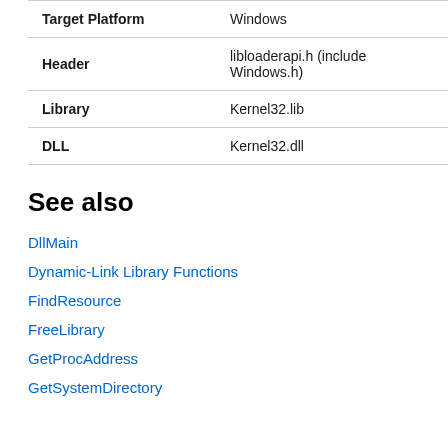| Property | Value |
| --- | --- |
| Target Platform | Windows |
| Header | libloaderapi.h (include Windows.h) |
| Library | Kernel32.lib |
| DLL | Kernel32.dll |
See also
DllMain
Dynamic-Link Library Functions
FindResource
FreeLibrary
GetProcAddress
GetSystemDirectory